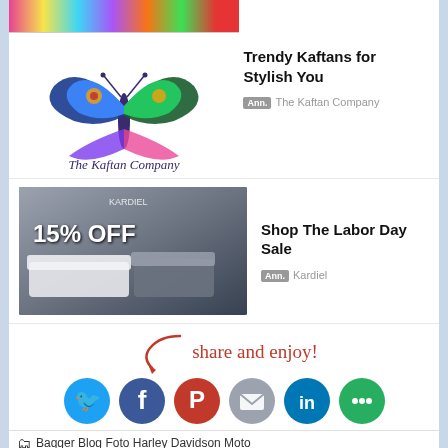[Figure (photo): Colorful banner image at the top]
[Figure (logo): The Kaftan Company butterfly logo]
Trendy Kaftans for Stylish You
Ann. The Kaftan Company
[Figure (photo): Kardiel furniture ad showing 15% OFF with people on sofas]
Shop The Labor Day Sale
Ann. Kardiel
[Figure (infographic): Share and enjoy section with social media icons: Twitter, Facebook, Pinterest, Email, LinkedIn, More]
Bagger Blog Foto Harley Davidson Moto
114, cromato, Harley Davidson, Heritage Classic, nero, news, novità
◁ Precedente
Prossimo ▷